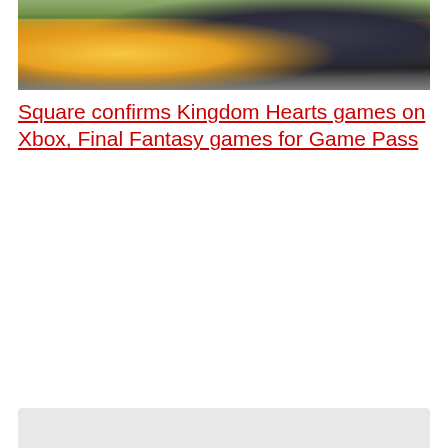[Figure (photo): Screenshot from a Kingdom Hearts game showing characters including what appears to be Winnie the Pooh (round yellow figure) and a dark-armored character, set in a colorful outdoor game environment with green foliage in the background.]
Square confirms Kingdom Hearts games on Xbox, Final Fantasy games for Game Pass
[Figure (photo): Partial screenshot or image at the bottom of the page, mostly cut off, with a light gray/beige background.]